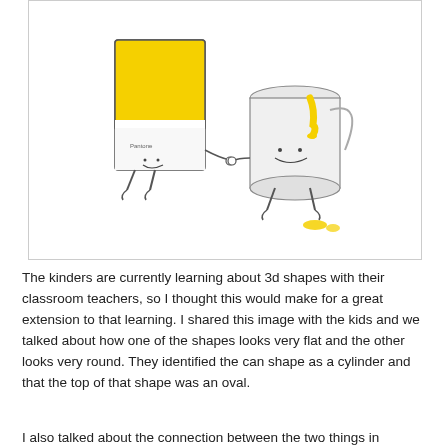[Figure (illustration): Cartoon illustration of a Pantone color swatch character (rectangular, yellow and white, with a cute face and legs) holding hands with a cartoon paint can character (cylindrical, white with yellow paint dripping, with a cute face and legs). Yellow paint drops on the ground near the paint can.]
The kinders are currently learning about 3d shapes with their classroom teachers, so I thought this would make for a great extension to that learning. I shared this image with the kids and we talked about how one of the shapes looks very flat and the other looks very round. They identified the can shape as a cylinder and that the top of that shape was an oval.
I also talked about the connection between the two things in